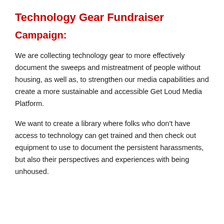Technology Gear Fundraiser
Campaign:
We are collecting technology gear to more effectively document the sweeps and mistreatment of people without housing, as well as, to strengthen our media capabilities and create a more sustainable and accessible Get Loud Media Platform.
We want to create a library where folks who don’t have access to technology can get trained and then check out equipment to use to document the persistent harassments, but also their perspectives and experiences with being unhoused.